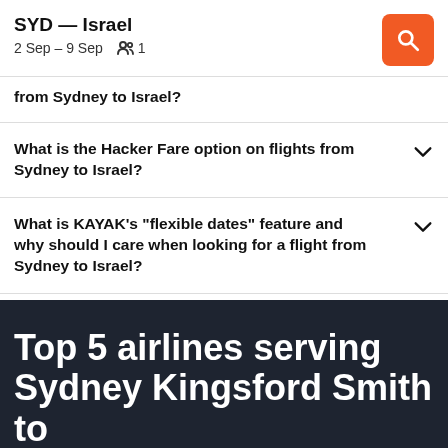SYD — Israel
2 Sep – 9 Sep   1
from Sydney to Israel?
What is the Hacker Fare option on flights from Sydney to Israel?
What is KAYAK's "flexible dates" feature and why should I care when looking for a flight from Sydney to Israel?
Top 5 airlines serving Sydney Kingsford Smith to